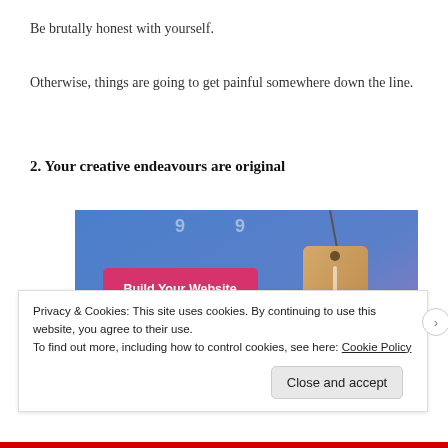Be brutally honest with yourself.
Otherwise, things are going to get painful somewhere down the line.
2. Your creative endeavours are original
[Figure (screenshot): Screenshot of a website builder page with a blue-to-purple gradient background, a pink 'Build Your Website' button on the left, and a hanging price tag illustration on the right.]
Privacy & Cookies: This site uses cookies. By continuing to use this website, you agree to their use.
To find out more, including how to control cookies, see here: Cookie Policy
Close and accept